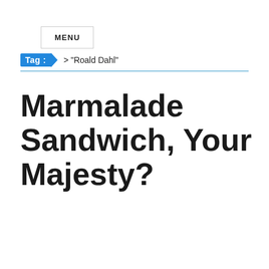MENU
Tag : > "Roald Dahl"
Marmalade Sandwich, Your Majesty?